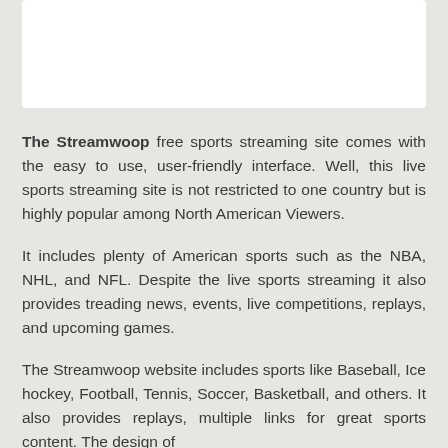[Figure (other): White rectangular box at the top of the page]
The Streamwoop free sports streaming site comes with the easy to use, user-friendly interface. Well, this live sports streaming site is not restricted to one country but is highly popular among North American Viewers.
It includes plenty of American sports such as the NBA, NHL, and NFL. Despite the live sports streaming it also provides treading news, events, live competitions, replays, and upcoming games.
The Streamwoop website includes sports like Baseball, Ice hockey, Football, Tennis, Soccer, Basketball, and others. It also provides replays, multiple links for great sports content. The design of